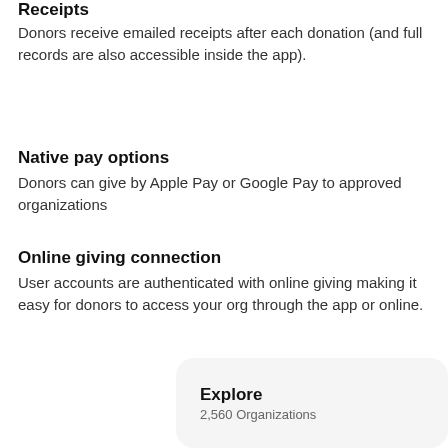Receipts
Donors receive emailed receipts after each donation (and full records are also accessible inside the app).
Native pay options
Donors can give by Apple Pay or Google Pay to approved organizations
Online giving connection
User accounts are authenticated with online giving making it easy for donors to access your org through the app or online.
[Figure (screenshot): A card UI element showing 'Explore' with subtitle '2,560 Organizations']